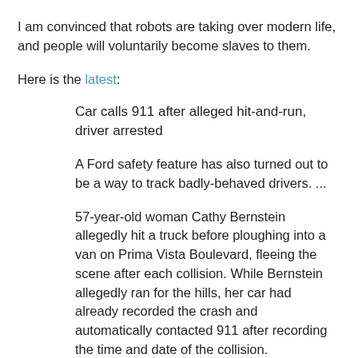I am convinced that robots are taking over modern life, and people will voluntarily become slaves to them.
Here is the latest:
Car calls 911 after alleged hit-and-run, driver arrested
A Ford safety feature has also turned out to be a way to track badly-behaved drivers. ...
57-year-old woman Cathy Bernstein allegedly hit a truck before ploughing into a van on Prima Vista Boulevard, fleeing the scene after each collision. While Bernstein allegedly ran for the hills, her car had already recorded the crash and automatically contacted 911 after recording the time and date of the collision.
The car's safety features, used by by Ford, BMW and other automakers, make use of sensors and